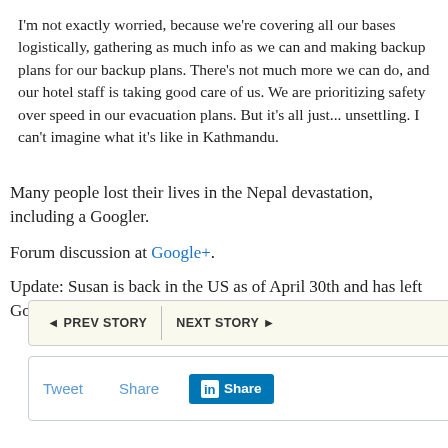I'm not exactly worried, because we're covering all our bases logistically, gathering as much info as we can and making backup plans for our backup plans. There's not much more we can do, and our hotel staff is taking good care of us. We are prioritizing safety over speed in our evacuation plans. But it's all just... unsettling. I can't imagine what it's like in Kathmandu.
Many people lost their lives in the Nepal devastation, including a Googler.
Forum discussion at Google+.
Update: Susan is back in the US as of April 30th and has left Google has of February 2015.
◄ PREV STORY   NEXT STORY ►
Tweet   Share   in Share